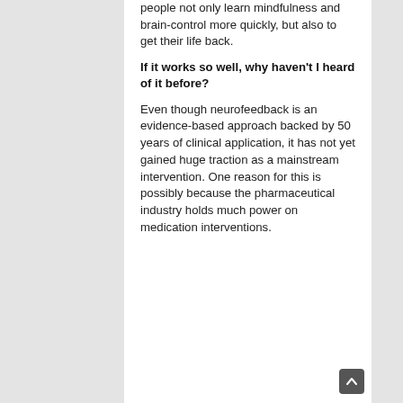people not only learn mindfulness and brain-control more quickly, but also to get their life back.
If it works so well, why haven't I heard of it before?
Even though neurofeedback is an evidence-based approach backed by 50 years of clinical application, it has not yet gained huge traction as a mainstream intervention. One reason for this is possibly because the pharmaceutical industry holds much power on medication interventions.